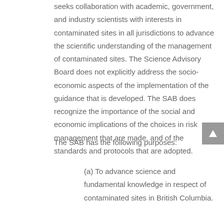seeks collaboration with academic, government, and industry scientists with interests in contaminated sites in all jurisdictions to advance the scientific understanding of the management of contaminated sites. The Science Advisory Board does not explicitly address the socio-economic aspects of the implementation of the guidance that is developed. The SAB does recognize the importance of the social and economic implications of the choices in risk management that are made, and of the standards and protocols that are adopted.
The SAB has the following purposes:
(a) To advance science and fundamental knowledge in respect of contaminated sites in British Columbia.